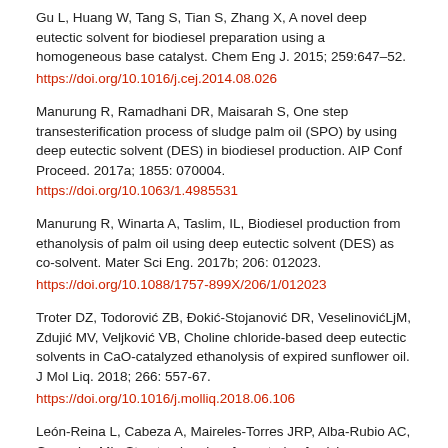Gu L, Huang W, Tang S, Tian S, Zhang X, A novel deep eutectic solvent for biodiesel preparation using a homogeneous base catalyst. Chem Eng J. 2015; 259:647–52. https://doi.org/10.1016/j.cej.2014.08.026
Manurung R, Ramadhani DR, Maisarah S, One step transesterification process of sludge palm oil (SPO) by using deep eutectic solvent (DES) in biodiesel production. AIP Conf Proceed. 2017a; 1855: 070004. https://doi.org/10.1063/1.4985531
Manurung R, Winarta A, Taslim, IL, Biodiesel production from ethanolysis of palm oil using deep eutectic solvent (DES) as co-solvent. Mater Sci Eng. 2017b; 206: 012023. https://doi.org/10.1088/1757-899X/206/1/012023
Troter DZ, Todorović ZB, Đokić-Stojanović DR, VeselinovićLjM, Zdujić MV, Veljković VB, Choline chloride-based deep eutectic solvents in CaO-catalyzed ethanolysis of expired sunflower oil. J Mol Liq. 2018; 266: 557-67. https://doi.org/10.1016/j.molliq.2018.06.106
León-Reina L, Cabeza A, Maireles-Torres JRP, Alba-Rubio AC, Granados ML, Structural and surface study of calcium glyceroxide, an active phase for biodiesel production under heterogeneous catalysis. J Catal. 2013; 300: 30–36. https://doi.org/10.1016/j.jcat.2013.10.016